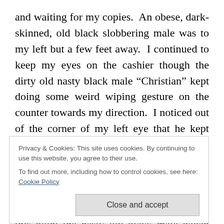and waiting for my copies.  An obese, dark-skinned, old black slobbering male was to my left but a few feet away.  I continued to keep my eyes on the cashier though the dirty old nasty black male “Christian” kept doing some weird wiping gesture on the counter towards my direction.  I noticed out of the corner of my left eye that he kept inching over in my direction while swiping his hands towards me.  While I was getting my paper copies, I immediately vacated my position at the counter and stepped towards the self-service Xerox machines.  It was at this point the nasty old black male pagan “Christian” stopped his
Privacy & Cookies: This site uses cookies. By continuing to use this website, you agree to their use.
To find out more, including how to control cookies, see here: Cookie Policy
Close and accept
well, down at the curb or at a station where giving out a t